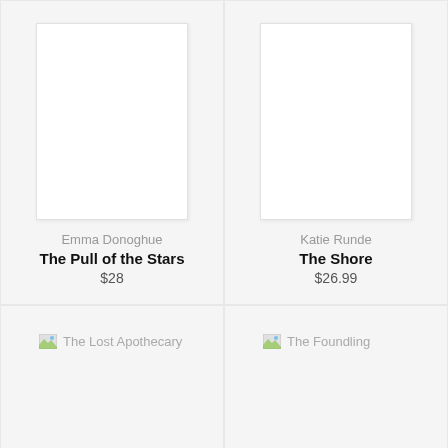[Figure (illustration): Book cover placeholder for The Pull of the Stars]
Emma Donoghue
The Pull of the Stars
$28
[Figure (illustration): Book cover placeholder for The Shore]
Katie Runde
The Shore
$26.99
[Figure (photo): Broken image placeholder for The Lost Apothecary]
The Lost Apothecary
[Figure (photo): Broken image placeholder for The Foundling]
The Foundling